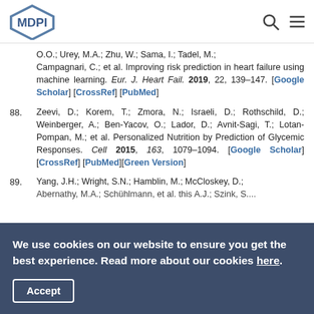MDPI navigation header with logo, search and menu icons
O.O.; Urey, M.A.; Zhu, W.; Sama, I.; Tadel, M.; Campagnari, C.; et al. Improving risk prediction in heart failure using machine learning. Eur. J. Heart Fail. 2019, 22, 139–147. [Google Scholar] [CrossRef] [PubMed]
88. Zeevi, D.; Korem, T.; Zmora, N.; Israeli, D.; Rothschild, D.; Weinberger, A.; Ben-Yacov, O.; Lador, D.; Avnit-Sagi, T.; Lotan-Pompan, M.; et al. Personalized Nutrition by Prediction of Glycemic Responses. Cell 2015, 163, 1079–1094. [Google Scholar] [CrossRef] [PubMed][Green Version]
89. Yang, J.H.; Wright, S.N.; Hamblin, M.; McCloskey, D.; ...
We use cookies on our website to ensure you get the best experience. Read more about our cookies here.